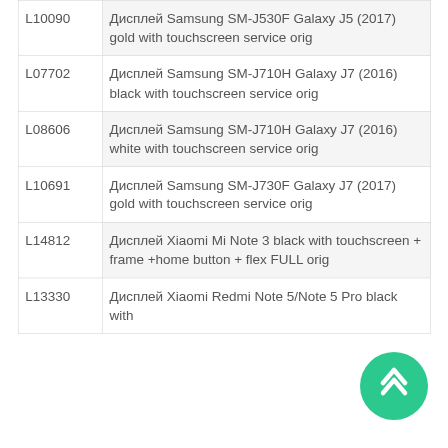| Code | Description |
| --- | --- |
| L10090 | Дисплей Samsung SM-J530F Galaxy J5 (2017) gold with touchscreen service orig |
| L07702 | Дисплей Samsung SM-J710H Galaxy J7 (2016) black with touchscreen service orig |
| L08606 | Дисплей Samsung SM-J710H Galaxy J7 (2016) white with touchscreen service orig |
| L10691 | Дисплей Samsung SM-J730F Galaxy J7 (2017) gold with touchscreen service orig |
| L14812 | Дисплей Xiaomi Mi Note 3 black with touchscreen + frame +home button + flex FULL orig |
| L13330 | Дисплей Xiaomi Redmi Note 5/Note 5 Pro black with |